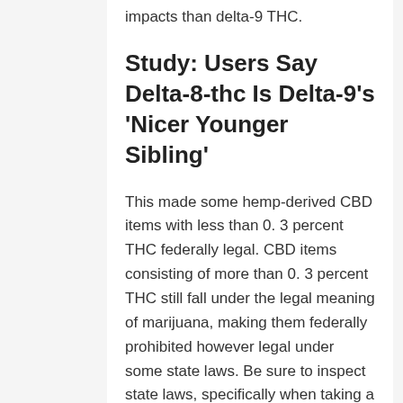impacts than delta-9 THC.
Study: Users Say Delta-8-thc Is Delta-9's 'Nicer Younger Sibling'
This made some hemp-derived CBD items with less than 0. 3 percent THC federally legal. CBD items consisting of more than 0. 3 percent THC still fall under the legal meaning of marijuana, making them federally prohibited however legal under some state laws. Be sure to inspect state laws, specifically when taking a trip. DELTA 8 BENIFITS.
3%). The bill does not discuss Delta-8 anywhere. Hemp advocates and